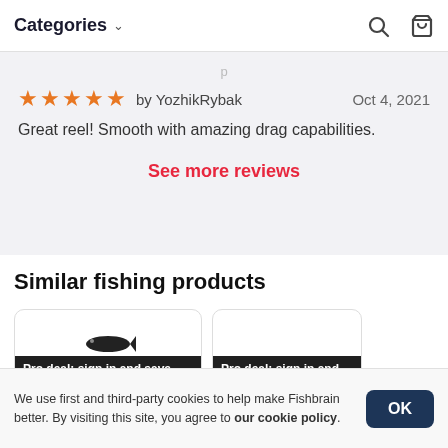Categories
★★★★★ by YozhikRybak   Oct 4, 2021
Great reel! Smooth with amazing drag capabilities.
See more reviews
Similar fishing products
Pro deal: sign in and save 10% at che...
Pro deal: sign in and save 1...
We use first and third-party cookies to help make Fishbrain better. By visiting this site, you agree to our cookie policy.